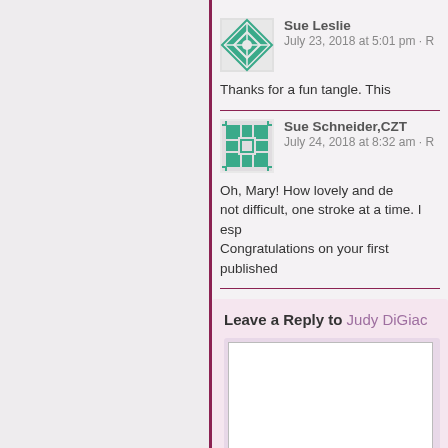Sue Leslie
July 23, 2018 at 5:01 pm · R
Thanks for a fun tangle. This
Sue Schneider,CZT
July 24, 2018 at 8:32 am · R
Oh, Mary! How lovely and de... not difficult, one stroke at a time. I esp... Congratulations on your first published
Leave a Reply to Judy DiGiac